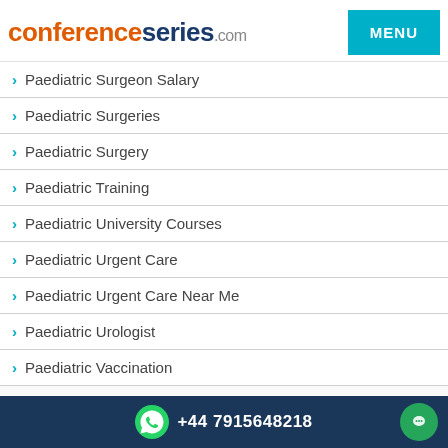conferenceseries.com
Paediatric Surgeon Salary
Paediatric Surgeries
Paediatric Surgery
Paediatric Training
Paediatric University Courses
Paediatric Urgent Care
Paediatric Urgent Care Near Me
Paediatric Urologist
Paediatric Vaccination
Paediatric Weight Estimation
Paediatrician
+44 7915648218